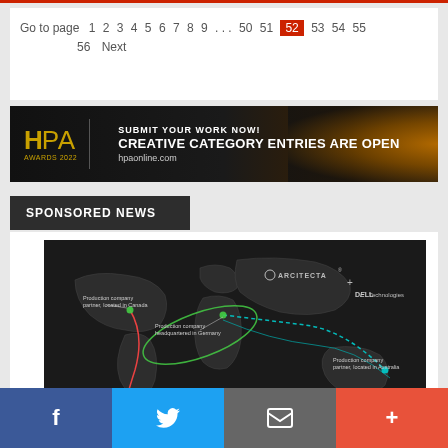Go to page 1 2 3 4 5 6 7 8 9 ... 50 51 52 53 54 55 56 Next
[Figure (infographic): HPA Awards 2022 banner: Submit Your Work Now! Creative Category Entries Are Open. hpaonline.com]
SPONSORED NEWS
[Figure (illustration): World map on dark background showing production company partner connections via colored arc paths (green, red, teal) between Canada, Germany, and Australia. Arcitecta and Dell Technologies logos visible.]
Facebook | Twitter | Email | More